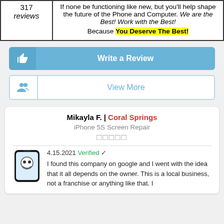| 317 reviews | If none be functioning like new, but you'll help shape the future of the Phone and Computer. We are the Best! Work with the Best!
Because You Deserve The Best! |
[Figure (other): Write a Review button with thumbs-up icon, blue background]
[Figure (other): View More button with people icon, white background with blue border]
Mikayla F. | Coral Springs
iPhone 5S Screen Repair
★★★★★
4.15.2021 Verified ✓
I found this company on google and I went with the idea that it all depends on the owner. This is a local business, not a franchise or anything like that. I